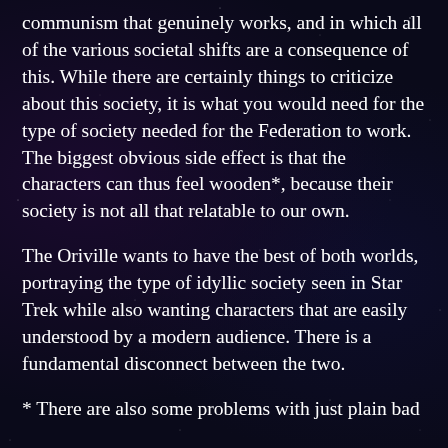communism that genuinely works, and in which all of the various societal shifts are a consequence of this. While there are certainly things to criticize about this society, it is what you would need for the type of society needed for the Federation to work. The biggest obvious side effect is that the characters can thus feel wooden*, because their society is not all that relatable to our own.
The Oriville wants to have the best of both worlds, portraying the type of idyllic society seen in Star Trek while also wanting characters that are easily understood by a modern audience. There is a fundamental disconnect between the two.
* There are also some problems with just plain bad